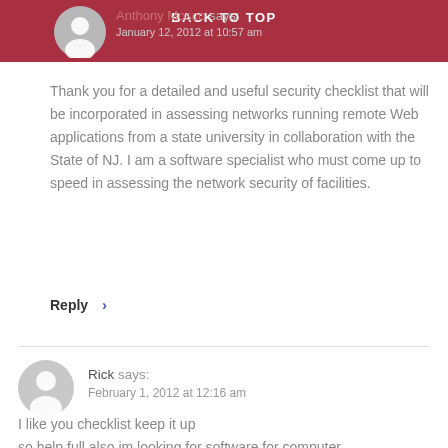BACK TO TOP
Anthony Mosco says:
January 12, 2012 at 10:57 am
Thank you for a detailed and useful security checklist that will be incorporated in assessing networks running remote Web applications from a state university in collaboration with the State of NJ. I am a software specialist who must come up to speed in assessing the network security of facilities.
Reply ›
Rick says:
February 1, 2012 at 12:16 am
I like you checklist keep it up
so help full also im looking for software for computer